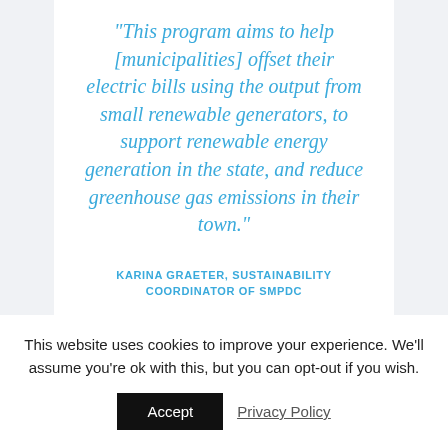“This program aims to help [municipalities] offset their electric bills using the output from small renewable generators, to support renewable energy generation in the state, and reduce greenhouse gas emissions in their town.”
KARINA GRAETER, SUSTAINABILITY COORDINATOR OF SMPDC
This website uses cookies to improve your experience. We’ll assume you’re ok with this, but you can opt-out if you wish.